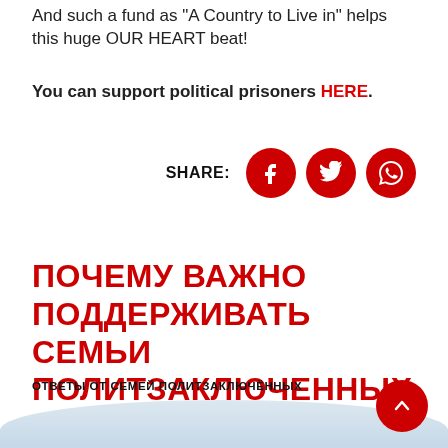And such a fund as "A Country to Live in" helps this huge OUR HEART beat!
You can support political prisoners HERE.
[Figure (other): Share row with SHARE: label and three circular red social media icons: Facebook, Twitter, WhatsApp]
ПОЧЕМУ ВАЖНО ПОДДЕРЖИВАТЬ СЕМЬИ ПОЛИТЗАКЛЮЧЕННЫХ
ОТВЕТЫ ОТ СЕМЕЙ ПОЛИТЗАКЛЮЧЁННЫХ
[Figure (photo): Partial photo of a mother and child sitting together, with a light blue rounded background shape. A red scroll-to-top button is visible in the bottom right corner.]